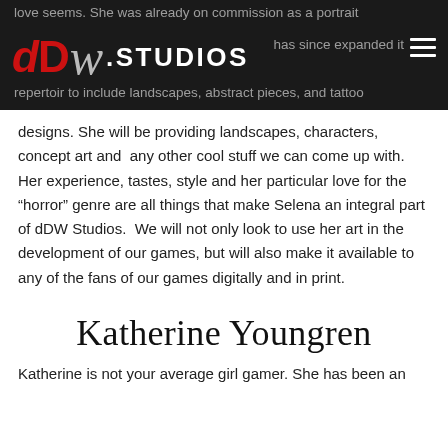dDW.STUDIOS
love seems. She was already on commission as a portrait has since expanded its repetoir to include landscapes, abstract pieces, and tattoo designs. She will be providing landscapes, characters, concept art and any other cool stuff we can come up with. Her experience, tastes, style and her particular love for the “horror” genre are all things that make Selena an integral part of dDW Studios. We will not only look to use her art in the development of our games, but will also make it available to any of the fans of our games digitally and in print.
Katherine Youngren
Katherine is not your average girl gamer. She has been an